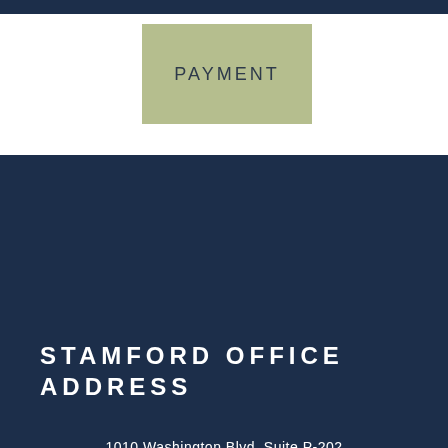PAYMENT
STAMFORD OFFICE ADDRESS
1010 Washington Blvd, Suite P-202
Stamford, CT 06901
Phone: 203-653-8483